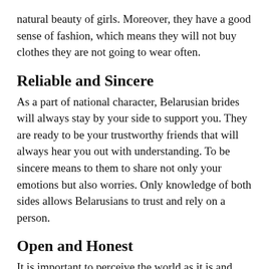natural beauty of girls. Moreover, they have a good sense of fashion, which means they will not buy clothes they are not going to wear often.
Reliable and Sincere
As a part of national character, Belarusian brides will always stay by your side to support you. They are ready to be your trustworthy friends that will always hear you out with understanding. To be sincere means to them to share not only your emotions but also worries. Only knowledge of both sides allows Belarusians to trust and rely on a person.
Open and Honest
It is important to perceive the world as it is and realize that everyone has their own opinion. Belarusians are open and honest with themselves and others. It makes